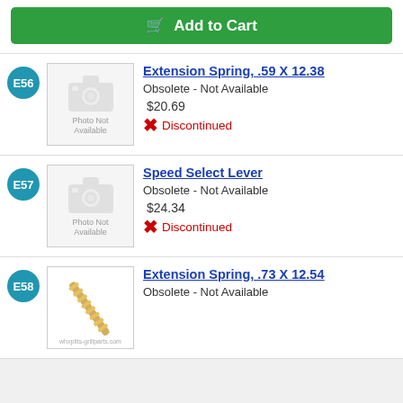[Figure (other): Green Add to Cart button with shopping cart icon]
E56 Extension Spring, .59 X 12.38 - Obsolete - Not Available - $20.69 - Discontinued
E57 Speed Select Lever - Obsolete - Not Available - $24.34 - Discontinued
E58 Extension Spring, .73 X 12.54 - Obsolete - Not Available